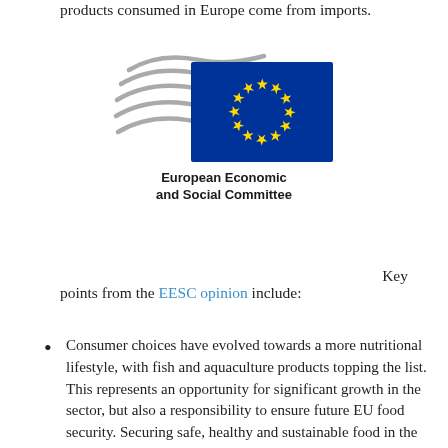products consumed in Europe come from imports.
[Figure (logo): European Economic and Social Committee (EESC) logo — stylized wave lines in grey alongside a blue EU flag with yellow stars, and text 'European Economic and Social Committee' in bold beneath]
Key points from the EESC opinion include:
Consumer choices have evolved towards a more nutritional lifestyle, with fish and aquaculture products topping the list. This represents an opportunity for significant growth in the sector, but also a responsibility to ensure future EU food security. Securing safe, healthy and sustainable food in the EU